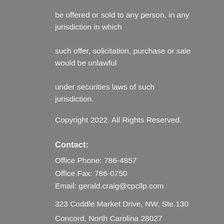be offered or sold to any person, in any jurisdiction in which such offer, solicitation, purchase or sale would be unlawful under securities laws of such jurisdiction.
Copyright 2022. All Rights Reserved.
Contact:
Office Phone: 786-4857
Office Fax: 786-0750
Email: gerald.craig@cpcllp.com
323 Coddle Market Drive, NW, Ste.130
Concord, North Carolina 28027